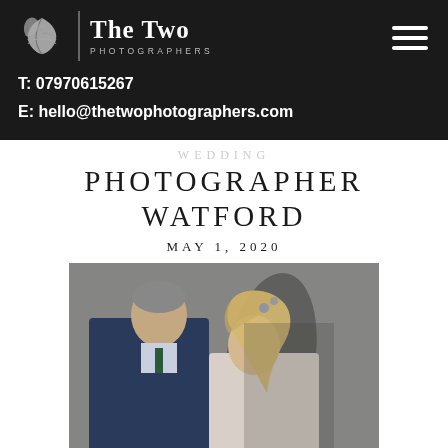[Figure (logo): The Two Photographers logo with leaf/botanical icon, divider, and text 'The Two PHOTOGRAPHERS' on black background with hamburger menu icon]
T: 07970615267
E: hello@thetwophotographers.com
PHOTOGRAPHER WATFORD
MAY 1, 2020
[Figure (photo): Wedding photo of a bride and groom about to kiss. Groom in dark blue suit, bride with blonde hair. Their shadows visible on a wall behind them.]